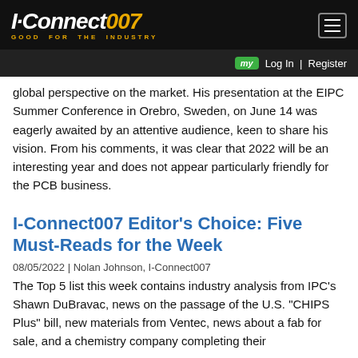I-Connect007 GOOD FOR THE INDUSTRY
global perspective on the market. His presentation at the EIPC Summer Conference in Orebro, Sweden, on June 14 was eagerly awaited by an attentive audience, keen to share his vision. From his comments, it was clear that 2022 will be an interesting year and does not appear particularly friendly for the PCB business.
I-Connect007 Editor’s Choice: Five Must-Reads for the Week
08/05/2022 | Nolan Johnson, I-Connect007
The Top 5 list this week contains industry analysis from IPC’s Shawn DuBravac, news on the passage of the U.S. “CHIPS Plus” bill, new materials from Ventec, news about a fab for sale, and a chemistry company completing their